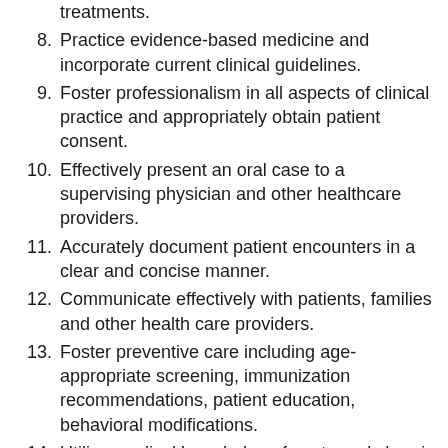treatments.
8. Practice evidence-based medicine and incorporate current clinical guidelines.
9. Foster professionalism in all aspects of clinical practice and appropriately obtain patient consent.
10. Effectively present an oral case to a supervising physician and other healthcare providers.
11. Accurately document patient encounters in a clear and concise manner.
12. Communicate effectively with patients, families and other health care providers.
13. Foster preventive care including age-appropriate screening, immunization recommendations, patient education, behavioral modifications.
14. Utilize medical knowledge of acute and chronic conditions including etiology, anatomy, pathophysiology, incidence, risk factors, clinical presentation, differential diagnosis, and treatment